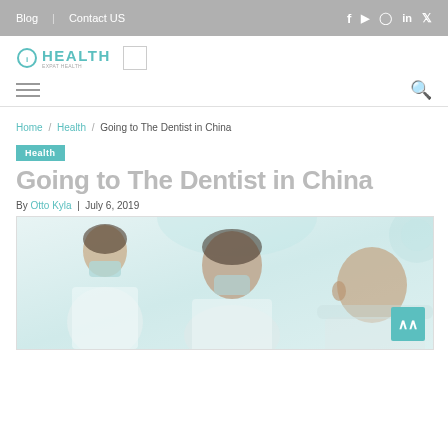Blog | Contact US
[Figure (logo): Health website logo with teal circle and HEALTH text]
breadcrumb navigation: Home / Health / Going to The Dentist in China
Health (category badge)
Going to The Dentist in China
By Otto Kyla | July 6, 2019
[Figure (photo): Photo of a dentist and dental staff in masks with a patient in a dental chair, light clinical background]